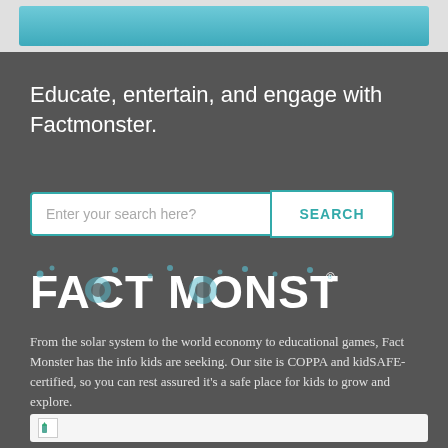[Figure (screenshot): Top banner area showing partial image with teal/blue background]
Educate, entertain, and engage with Factmonster.
[Figure (other): Search bar with input field 'Enter your search here?' and SEARCH button]
[Figure (logo): Fact Monster logo in white with teal bubble dot decorations]
From the solar system to the world economy to educational games, Fact Monster has the info kids are seeking. Our site is COPPA and kidSAFE-certified, so you can rest assured it's a safe place for kids to grow and explore.
2000-2019 Sandbox Networks, Inc. All Rights Reserved.
[Figure (screenshot): kidSAFE certification badge image (partially visible)]
FactMonster.com is certified by the kidSAFE Seal Program. To